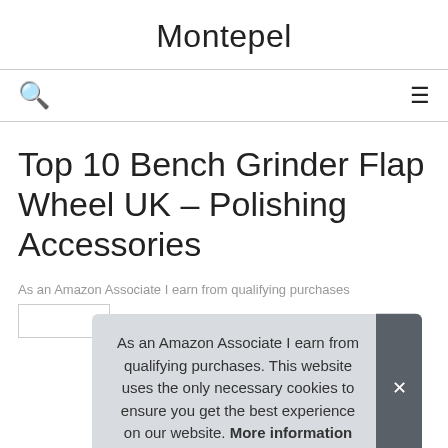Montepel
[Figure (other): Navigation bar with search icon (magnifying glass) on the left and hamburger menu icon on the right]
Top 10 Bench Grinder Flap Wheel UK – Polishing Accessories
As an Amazon Associate I earn from qualifying purchases
1.
As an Amazon Associate I earn from qualifying purchases. This website uses the only necessary cookies to ensure you get the best experience on our website. More information